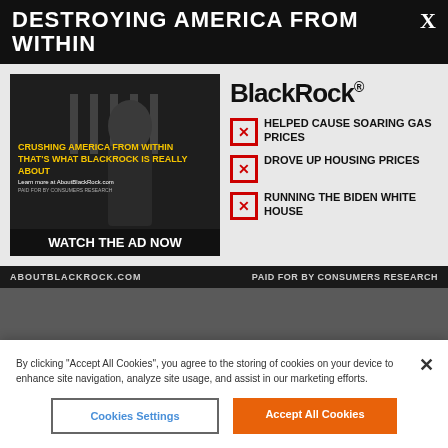BREITBART
DESTROYING AMERICA FROM WITHIN
[Figure (screenshot): Advertisement screenshot showing a man in front of the White House with text 'CRUSHING AMERICA FROM WITHIN THAT'S WHAT BLACKROCK IS REALLY ABOUT' and a 'WATCH THE AD NOW' button]
BlackRock
☒ HELPED CAUSE SOARING GAS PRICES
☒ DROVE UP HOUSING PRICES
☒ RUNNING THE BIDEN WHITE HOUSE
ABOUTBLACKROCK.COM    PAID FOR BY CONSUMERS RESEARCH
By clicking "Accept All Cookies", you agree to the storing of cookies on your device to enhance site navigation, analyze site usage, and assist in our marketing efforts.
Cookies Settings | Accept All Cookies